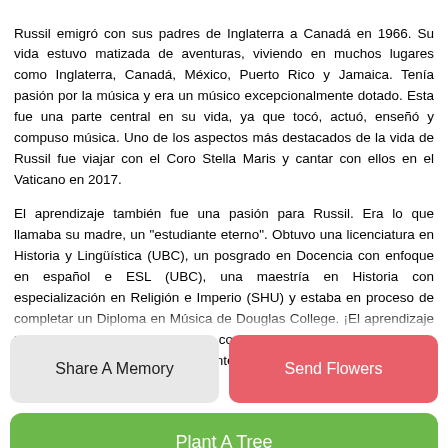Russil emigró con sus padres de Inglaterra a Canadá en 1966. Su vida estuvo matizada de aventuras, viviendo en muchos lugares como Inglaterra, Canadá, México, Puerto Rico y Jamaica. Tenía pasión por la música y era un músico excepcionalmente dotado. Esta fue una parte central en su vida, ya que tocó, actuó, enseñó y compuso música. Uno de los aspectos más destacados de la vida de Russil fue viajar con el Coro Stella Maris y cantar con ellos en el Vaticano en 2017.
El aprendizaje también fue una pasión para Russil. Era lo que llamaba su madre, un "estudiante eterno". Obtuvo una licenciatura en Historia y Lingüística (UBC), un posgrado en Docencia con enfoque en español e ESL (UBC), una maestría en Historia con especialización en Religión e Imperio (SHU) y estaba en proceso de completar un Diploma en Música de Douglas College. ¡El aprendizaje le trajo estrés y alegría a Russil, como pueden atestiguar quienes lo conocieron! Russil tenía muchos intereses y pasatiempos; casi
Share A Memory
Send Flowers
Plant A Tree